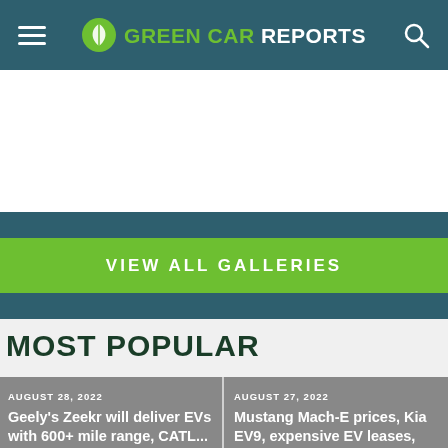GREEN CAR REPORTS
[Figure (other): Advertisement/blank white space area]
VIEW ALL GALLERIES
MOST POPULAR
AUGUST 28, 2022
Geely's Zeekr will deliver EVs with 600+ mile range, CATL...
AUGUST 27, 2022
Mustang Mach-E prices, Kia EV9, expensive EV leases, CARB and EV tax...